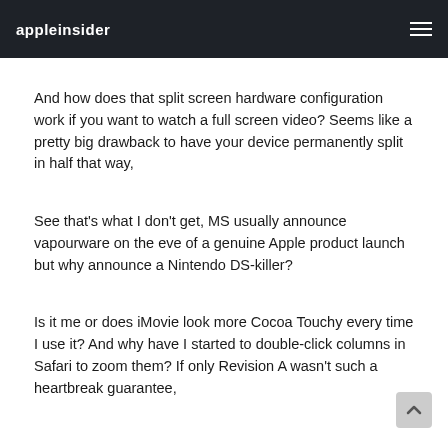appleinsider
And how does that split screen hardware configuration work if you want to watch a full screen video? Seems like a pretty big drawback to have your device permanently split in half that way,
See that's what I don't get, MS usually announce vapourware on the eve of a genuine Apple product launch but why announce a Nintendo DS-killer?
Is it me or does iMovie look more Cocoa Touchy every time I use it? And why have I started to double-click columns in Safari to zoom them? If only Revision A wasn't such a heartbreak guarantee,